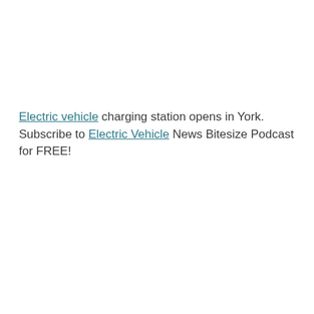Electric vehicle charging station opens in York. Subscribe to Electric Vehicle News Bitesize Podcast for FREE!